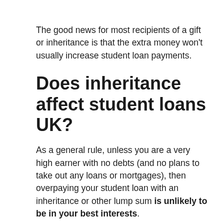The good news for most recipients of a gift or inheritance is that the extra money won't usually increase student loan payments.
Does inheritance affect student loans UK?
As a general rule, unless you are a very high earner with no debts (and no plans to take out any loans or mortgages), then overpaying your student loan with an inheritance or other lump sum is unlikely to be in your best interests.
How do I protect my